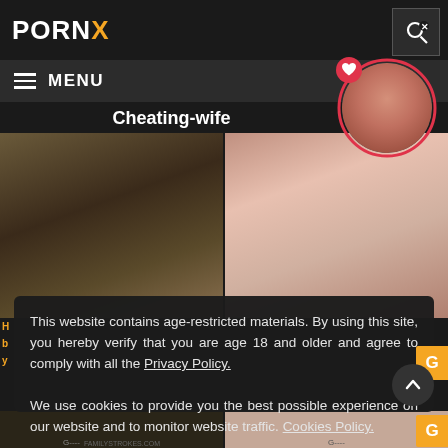PORNX
MENU
Cheating-wife
[Figure (screenshot): Two video thumbnails side by side showing adult content]
This website contains age-restricted materials. By using this site, you hereby verify that you are age 18 and older and agree to comply with all the Privacy Policy.
We use cookies to provide you the best possible experience on our website and to monitor website traffic. Cookies Policy.